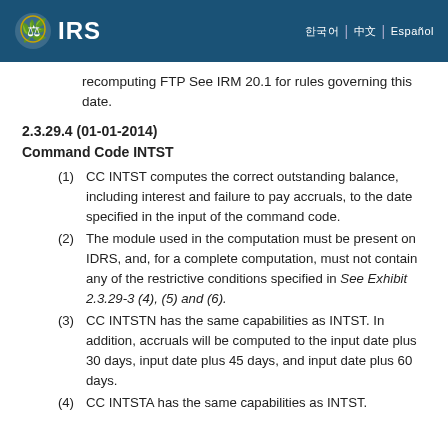IRS
recomputing FTP See IRM 20.1 for rules governing this date.
2.3.29.4 (01-01-2014)
Command Code INTST
(1) CC INTST computes the correct outstanding balance, including interest and failure to pay accruals, to the date specified in the input of the command code.
(2) The module used in the computation must be present on IDRS, and, for a complete computation, must not contain any of the restrictive conditions specified in See Exhibit 2.3.29-3 (4), (5) and (6).
(3) CC INTSTN has the same capabilities as INTST. In addition, accruals will be computed to the input date plus 30 days, input date plus 45 days, and input date plus 60 days.
(4) CC INTSTA has the same capabilities as INTST.